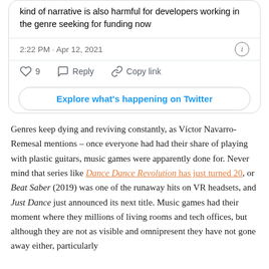[Figure (screenshot): Twitter/X tweet card showing tweet text, timestamp 2:22 PM · Apr 12, 2021, like/reply/copy link actions, and Explore what's happening on Twitter button]
Genres keep dying and reviving constantly, as Víctor Navarro-Remesal mentions – once everyone had had their share of playing with plastic guitars, music games were apparently done for. Never mind that series like Dance Dance Revolution has just turned 20, or Beat Saber (2019) was one of the runaway hits on VR headsets, and Just Dance just announced its next title. Music games had their moment where they millions of living rooms and tech offices, but although they are not as visible and omnipresent they have not gone away either, particularly